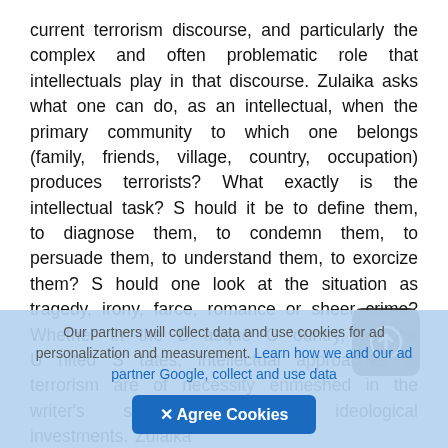current terrorism discourse, and particularly the complex and often problematic role that intellectuals play in that discourse. Zulaika asks what one can do, as an intellectual, when the primary community to which one belongs (family, friends, village, country, occupation) produces terrorists? What exactly is the intellectual task? S hould it be to define them, to diagnose them, to condemn them, to persuade them, to understand them, to exorcize them? S hould one look at the situation as tragedy, irony, farce, romance or sheer crime? Whether in the B asque C ountry, Ireland, the U nited S tates, intellectual approaches to terrorism are of necessity enmeshed in the writer's selfdefinitions and ideological investments. Zulaika
Our partners will collect data and use cookies for ad personalization and measurement. Learn how we and our ad partner Google, collect and use data